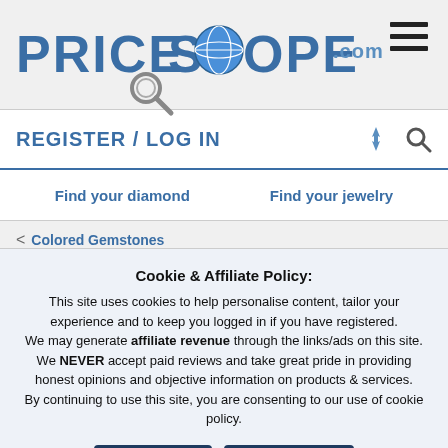[Figure (logo): PriceScope.com logo with globe and magnifying glass]
REGISTER / LOG IN
Find your diamond   Find your jewelry
< Colored Gemstones
Please help me decide which setting
Cookie & Affiliate Policy:
This site uses cookies to help personalise content, tailor your experience and to keep you logged in if you have registered.
We may generate affiliate revenue through the links/ads on this site.
We NEVER accept paid reviews and take great pride in providing honest opinions and objective information on products & services.
By continuing to use this site, you are consenting to our use of cookie policy.
Accept   Learn more...